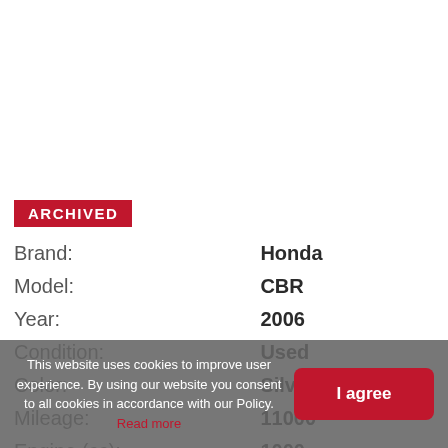ARCHIVED
| Field | Value |
| --- | --- |
| Brand: | Honda |
| Model: | CBR |
| Year: | 2006 |
| Condition: | Used |
| Color: | Silver |
| Mileage: | 11000 |
| Engine (cc): | 1000 |
This website uses cookies to improve user experience. By using our website you consent to all cookies in accordance with our Policy. Read more